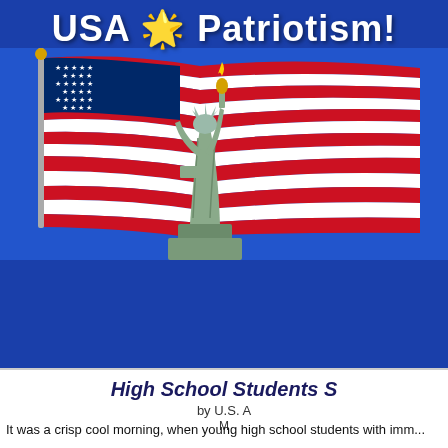USA Patriotism!
[Figure (illustration): Statue of Liberty in front of a waving American flag on a blue background]
Patriotic Articles
Military
[Figure (logo): Large blue B letter logo with text: Patri... US... Item...]
High School Students S
by U.S. A
M
It was a crisp cool morning, when young high school students with imm...